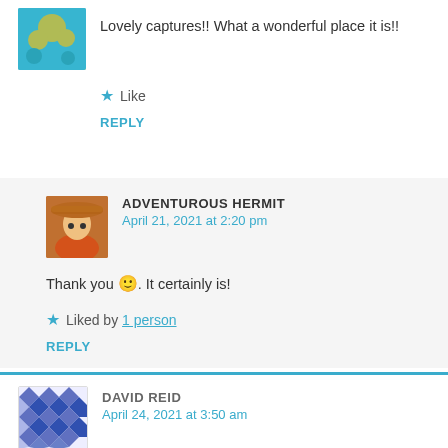[Figure (photo): Small avatar photo showing person in blue top with flowers/sunflowers in background]
Lovely captures!! What a wonderful place it is!!
★ Like
REPLY
[Figure (photo): Avatar photo of person wearing hat and sunglasses, orange top]
ADVENTUROUS HERMIT
April 21, 2021 at 2:20 pm
Thank you 🙂. It certainly is!
★ Liked by 1 person
REPLY
[Figure (photo): Avatar image with blue and white geometric/diamond quilt pattern]
DAVID REID
April 24, 2021 at 3:50 am